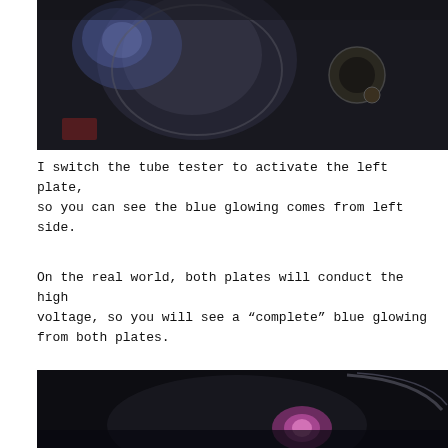[Figure (photo): Dark photograph showing a vacuum tube being tested, with a faint blue glow visible on the left side from the tube tester activating the left plate. The tube and test equipment are visible against a dark background.]
I switch the tube tester to activate the left plate, so you can see the blue glowing comes from left side.
On the real world, both plates will conduct the high voltage, so you will see a “complete” blue glowing from both plates.
[Figure (photo): Dark photograph showing a vacuum tube with a pink/magenta glow visible inside the tube, demonstrating the complete glowing from both plates when high voltage is conducted.]